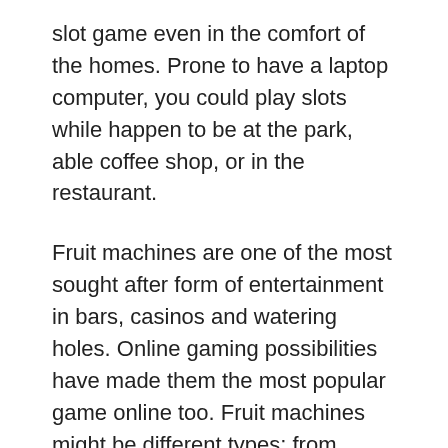slot game even in the comfort of the homes. Prone to have a laptop computer, you could play slots while happen to be at the park, able coffee shop, or in the restaurant.
Fruit machines are one of the most sought after form of entertainment in bars, casinos and watering holes. Online gaming possibilities have made them the most popular game online too. Fruit machines might be different types; from penny wagers to wagers of more than 100 credit cards. Another attraction is the free fruit machine provided by certain online casinos. You can play on these machines without anxiety about losing price.
If had been only going to play with one coin or you